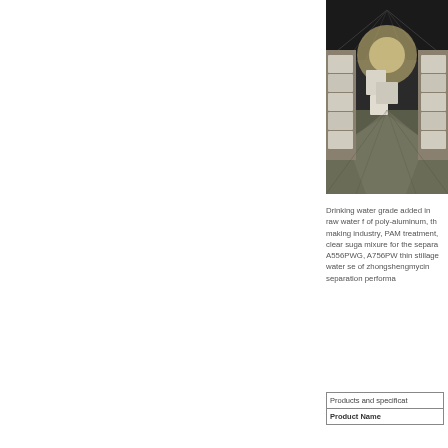[Figure (photo): Interior of a large warehouse with palletized goods stacked along the sides, concrete floor, metal roof structure visible, perspective view down the length of the warehouse]
Drinking water grade added in raw water f of poly-aluminum, th making industry, PAM treatment, clear suga mixure for the separa A556PWG, A756PW thin stillage water se of zhongshengmycin separation performa
| Products and specificat |
| --- |
| Product Name |